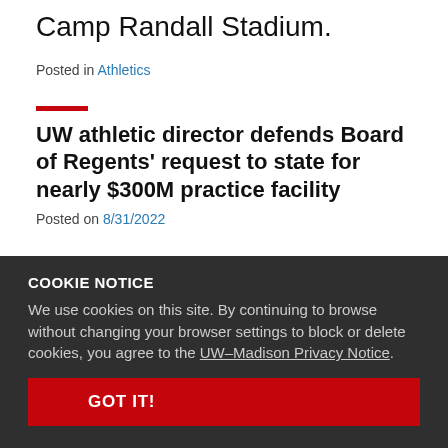Camp Randall Stadium.
Posted in Athletics
UW athletic director defends Board of Regents' request to state for nearly $300M practice facility
Posted on 8/31/2022
COOKIE NOTICE
We use cookies on this site. By continuing to browse without changing your browser settings to block or delete cookies, you agree to the UW–Madison Privacy Notice.
GOT IT!